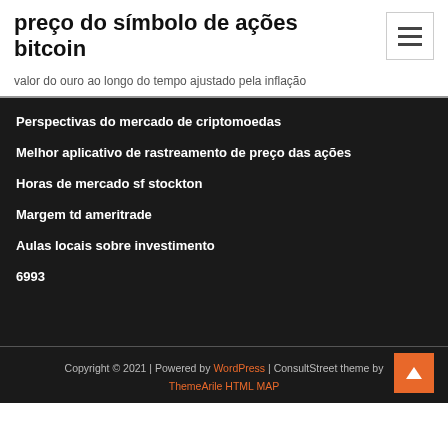preço do símbolo de ações bitcoin
valor do ouro ao longo do tempo ajustado pela inflação
Perspectivas do mercado de criptomoedas
Melhor aplicativo de rastreamento de preço das ações
Horas de mercado sf stockton
Margem td ameritrade
Aulas locais sobre investimento
6993
Copyright © 2021 | Powered by WordPress | ConsultStreet theme by ThemeArile HTML MAP